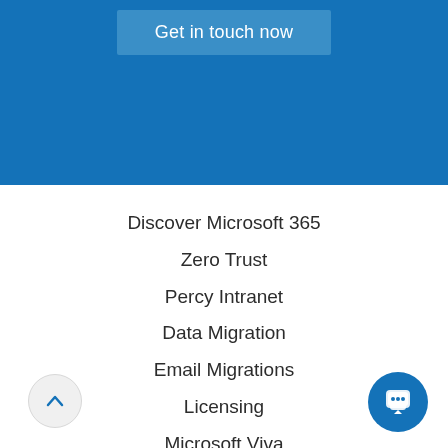[Figure (screenshot): Blue banner section with a 'Get in touch now' button]
Discover Microsoft 365
Zero Trust
Percy Intranet
Data Migration
Email Migrations
Licensing
Microsoft Viva